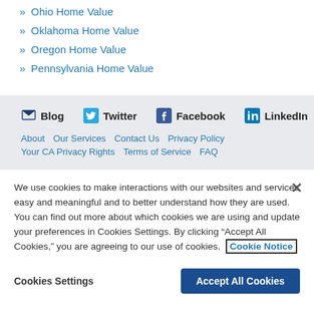Ohio Home Value
Oklahoma Home Value
Oregon Home Value
Pennsylvania Home Value
Blog  Twitter  Facebook  LinkedIn  About  Our Services  Contact Us  Privacy Policy  Your CA Privacy Rights  Terms of Service  FAQ
We use cookies to make interactions with our websites and services easy and meaningful and to better understand how they are used. You can find out more about which cookies we are using and update your preferences in Cookies Settings. By clicking "Accept All Cookies," you are agreeing to our use of cookies. Cookie Notice
Cookies Settings  Accept All Cookies